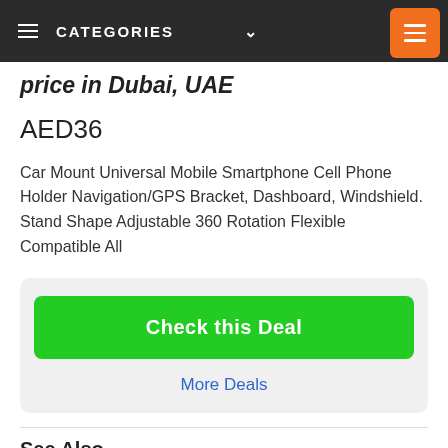≡  CATEGORIES  ∨
price in Dubai, UAE
AED36
Car Mount Universal Mobile Smartphone Cell Phone Holder Navigation/GPS Bracket, Dashboard, Windshield. Stand Shape Adjustable 360 Rotation Flexible Compatible All
Check this Deal
More Deals
See Also